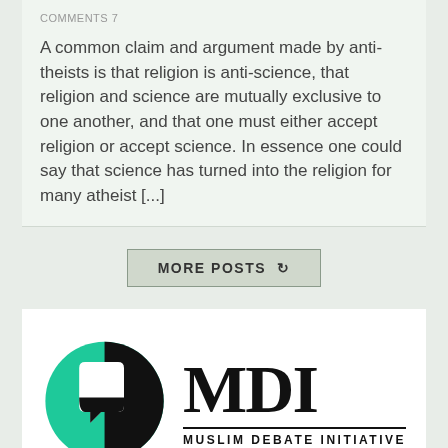COMMENTS 7
A common claim and argument made by anti-theists is that religion is anti-science, that religion and science are mutually exclusive to one another, and that one must either accept religion or accept science. In essence one could say that science has turned into the religion for many atheist [...]
MORE POSTS ↻
[Figure (logo): MDI - Muslim Debate Initiative logo with green and black circular icon on the left and bold 'MDI' text with 'MUSLIM DEBATE INITIATIVE' subtitle on the right]